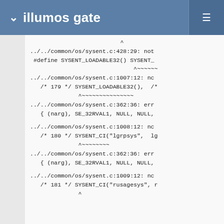illumos gate
^
../../common/os/sysent.c:428:29: not
 #define SYSENT_LOADABLE32() SYSENT_
                              ^~~~~~~
../../common/os/sysent.c:1007:12: no
   /* 179 */ SYSENT_LOADABLE32(),  /*
              ^~~~~~~~~~~~~~~~
../../common/os/sysent.c:362:36: err
   { (narg), SE_32RVAL1, NULL, NULL,

../../common/os/sysent.c:1008:12: no
   /* 180 */ SYSENT_CI("lgrpsys",  lg
              ^~~~~~~~~
../../common/os/sysent.c:362:36: err
   { (narg), SE_32RVAL1, NULL, NULL,

../../common/os/sysent.c:1009:12: no
   /* 181 */ SYSENT_CI("rusagesys", r
              ^